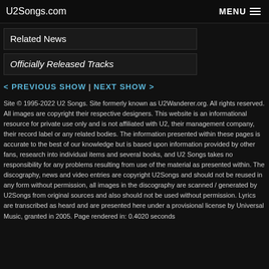U2Songs.com   MENU
Related News
Officially Released Tracks
< PREVIOUS SHOW | NEXT SHOW >
Site © 1995-2022 U2 Songs. Site formerly known as U2Wanderer.org. All rights reserved. All images are copyright their respective designers. This website is an informational resource for private use only and is not affiliated with U2, their management company, their record label or any related bodies. The information presented within these pages is accurate to the best of our knowledge but is based upon information provided by other fans, research into individual items and several books, and U2 Songs takes no responsibility for any problems resulting from use of the material as presented within. The discography, news and video entries are copyright U2Songs and should not be reused in any form without permission, all images in the discography are scanned / generated by U2Songs from original sources and also should not be used without permission. Lyrics are transcribed as heard and are presented here under a provisional license by Universal Music, granted in 2005. Page rendered in: 0.4020 seconds